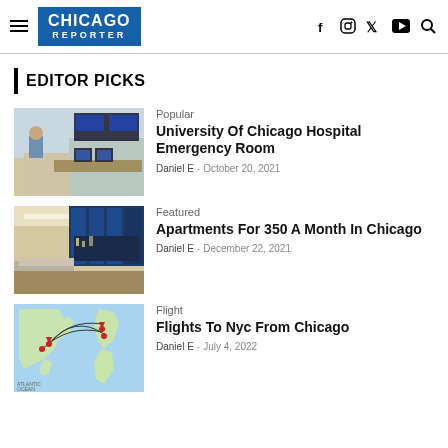Chicago Reporter
EDITOR PICKS
Popular
University Of Chicago Hospital Emergency Room
Daniel E  -  October 20, 2021
Featured
Apartments For 350 A Month In Chicago
Daniel E  -  December 22, 2021
Flight
Flights To Nyc From Chicago
Daniel E  -  July 4, 2022